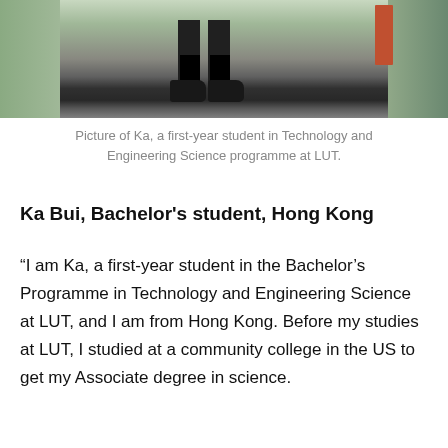[Figure (photo): Photo of Ka, a first-year student, showing her legs and boots standing on outdoor steps with railings and a red door visible in background.]
Picture of Ka, a first-year student in Technology and Engineering Science programme at LUT.
Ka Bui, Bachelor's student, Hong Kong
“I am Ka, a first-year student in the Bachelor’s Programme in Technology and Engineering Science at LUT, and I am from Hong Kong. Before my studies at LUT, I studied at a community college in the US to get my Associate degree in science.